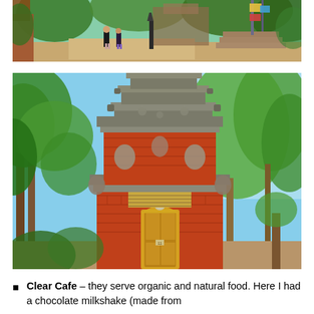[Figure (photo): Outdoor photo of a Balinese temple entrance garden with tourists, lush tropical vegetation, colorful decorations and steps in background]
[Figure (photo): Close-up photo of a traditional Balinese temple (pura) with ornate red brick architecture, tiered pagoda-style roof with grey stone carvings, golden doorway, surrounded by tropical trees against blue sky]
Clear Cafe – they serve organic and natural food. Here I had a chocolate milkshake (made from